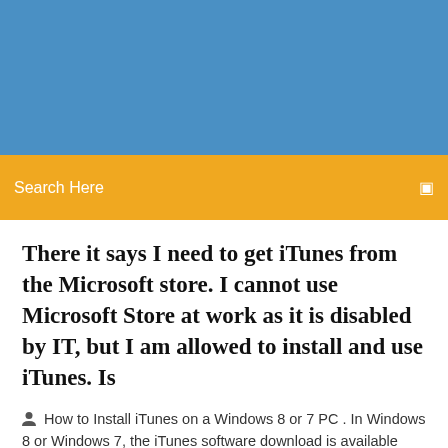[Figure (other): Blue header banner background]
Search Here
There it says I need to get iTunes from the Microsoft store. I cannot use Microsoft Store at work as it is disabled by IT, but I am allowed to install and use iTunes. Is
How to Install iTunes on a Windows 8 or 7 PC . In Windows 8 or Windows 7, the iTunes software download is available from Apple. Go to the Apple iTunes download page, then select Download for